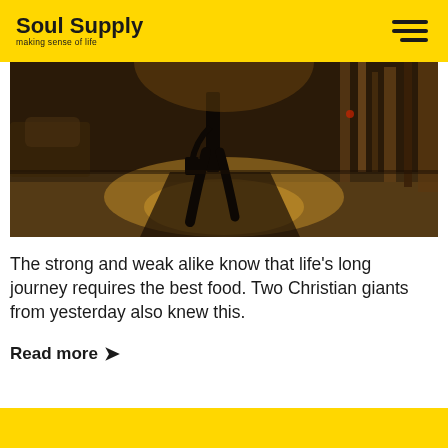Soul Supply — making sense of life
[Figure (photo): Street-level sepia/dark-toned photo of a person walking on a city sidewalk, viewed from low angle, dramatic shadows]
The strong and weak alike know that life's long journey requires the best food. Two Christian giants from yesterday also knew this.
Read more ›